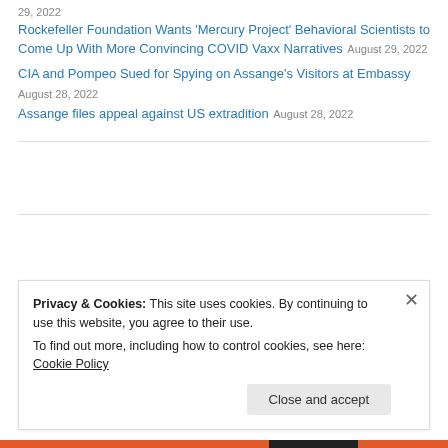29, 2022
Rockefeller Foundation Wants 'Mercury Project' Behavioral Scientists to Come Up With More Convincing COVID Vaxx Narratives August 29, 2022
CIA and Pompeo Sued for Spying on Assange's Visitors at Embassy August 28, 2022
Assange files appeal against US extradition August 28, 2022
Privacy & Cookies: This site uses cookies. By continuing to use this website, you agree to their use.
To find out more, including how to control cookies, see here: Cookie Policy
Close and accept